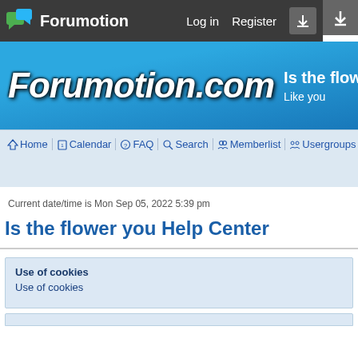Forumotion   Log in   Register
[Figure (screenshot): Forumotion.com blue banner with italic bold logo text and tagline 'Is the flower you / Like you']
Home  Calendar  FAQ  Search  Memberlist  Usergroups  Regist...
Current date/time is Mon Sep 05, 2022 5:39 pm
Is the flower you Help Center
Use of cookies
Use of cookies